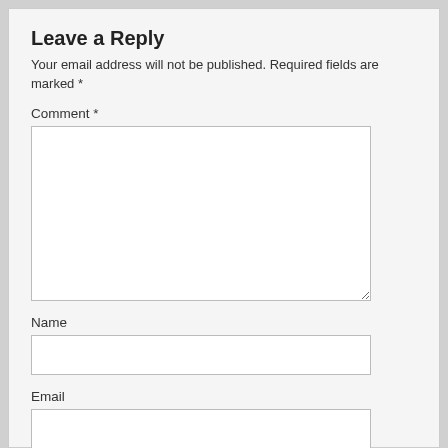Leave a Reply
Your email address will not be published. Required fields are marked *
Comment *
Name
Email
Website